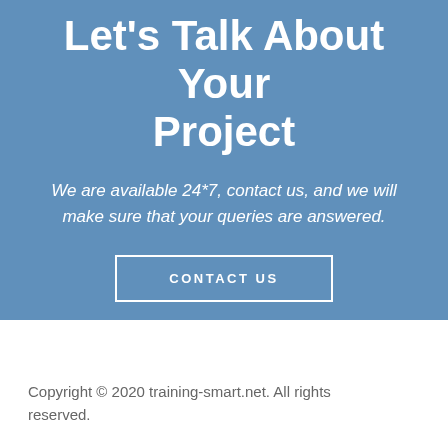Let’s Talk About Your Project
We are available 24*7, contact us, and we will make sure that your queries are answered.
CONTACT US
Copyright © 2020 training-smart.net. All rights reserved.